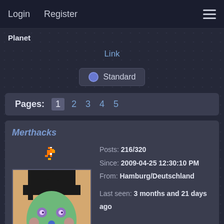Login   Register
Planet
Link
Standard
Pages: 1 2 3 4 5
Merthacks
Posts: 216/320
Since: 2009-04-25 12:30:10 PM
From: Hamburg/Deutschland
Last seen: 3 months and 21 days ago
Posted on 2015-12-08 11:53:33 PM
Link
Hello, all.. Well, here I am, again. Trying to finish something.